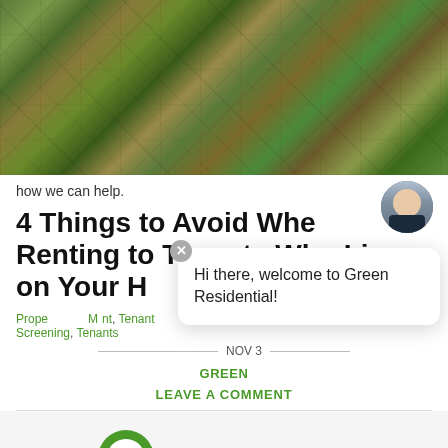[Figure (photo): Aerial photograph of agricultural fields showing a patchwork of green, brown, and yellow plots of farmland viewed from above.]
how we can help.
4 Things to Avoid When Renting to Tenants Who Live on Your H
Property Management, Tenant Screening, Tenants
NOV 3
GREEN
LEAVE A COMMENT
[Figure (logo): Green Residential company logo with a stylized green G letter mark followed by the text Green Residential in serif font]
Hi there, welcome to Green Residential!